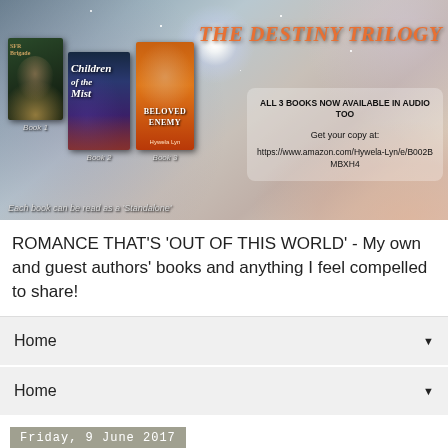[Figure (illustration): The Destiny Trilogy book series promotional banner showing three book covers (Book 1, Book 2 'Children of the Mist', Book 3 'Beloved Enemy') against a starry space background. Text reads: THE DESTINY TRILOGY, ALL 3 BOOKS NOW AVAILABLE IN AUDIO TOO, Get your copy at: https://www.amazon.com/Hywela-Lyn/e/B002BMBXH4, Each book can be read as a 'Standalone']
ROMANCE THAT'S 'OUT OF THIS WORLD' - My own and guest authors' books and anything I feel compelled to share!
Home
Home
Friday, 9 June 2017
SFR Brigade showcase The Destiny